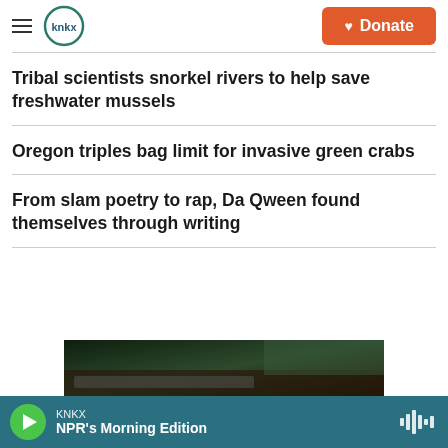KNKX — Donate
Tribal scientists snorkel rivers to help save freshwater mussels
Oregon triples bag limit for invasive green crabs
From slam poetry to rap, Da Qween found themselves through writing
[Figure (photo): Dark nature/forest image partially visible at bottom of page]
KNKX — NPR's Morning Edition